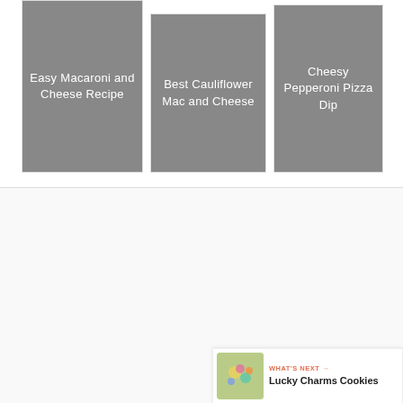[Figure (screenshot): Three recipe card images in a row: Easy Macaroni and Cheese Recipe, Best Cauliflower Mac and Cheese, Cheesy Pepperoni Pizza Dip]
[Figure (screenshot): Social sharing UI with heart button, count 37, share button, and What's Next - Lucky Charms Cookies banner]